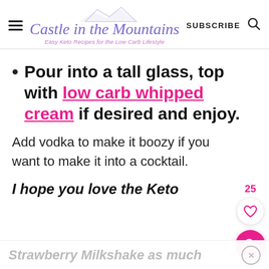Castle in the Mountains — Easy Keto Recipes for the Low Carb Lifestyle | SUBSCRIBE
Pour into a tall glass, top with low carb whipped cream if desired and enjoy.
Add vodka to make it boozy if you want to make it into a cocktail.
I hope you love the Keto Strawberry Milkshake as much as...